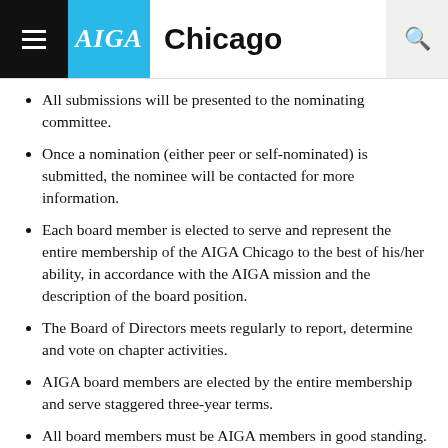AIGA Chicago
All submissions will be presented to the nominating committee.
Once a nomination (either peer or self-nominated) is submitted, the nominee will be contacted for more information.
Each board member is elected to serve and represent the entire membership of the AIGA Chicago to the best of his/her ability, in accordance with the AIGA mission and the description of the board position.
The Board of Directors meets regularly to report, determine and vote on chapter activities.
AIGA board members are elected by the entire membership and serve staggered three-year terms.
All board members must be AIGA members in good standing.